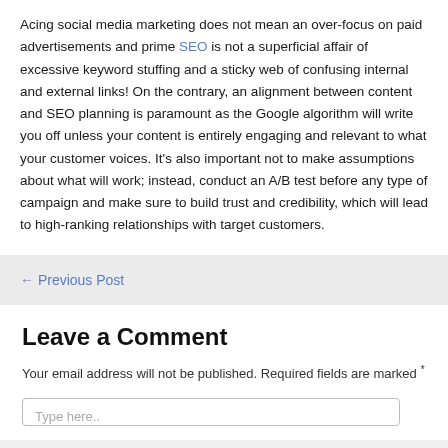Acing social media marketing does not mean an over-focus on paid advertisements and prime SEO is not a superficial affair of excessive keyword stuffing and a sticky web of confusing internal and external links! On the contrary, an alignment between content and SEO planning is paramount as the Google algorithm will write you off unless your content is entirely engaging and relevant to what your customer voices. It's also important not to make assumptions about what will work; instead, conduct an A/B test before any type of campaign and make sure to build trust and credibility, which will lead to high-ranking relationships with target customers.
← Previous Post
Leave a Comment
Your email address will not be published. Required fields are marked *
Type here..